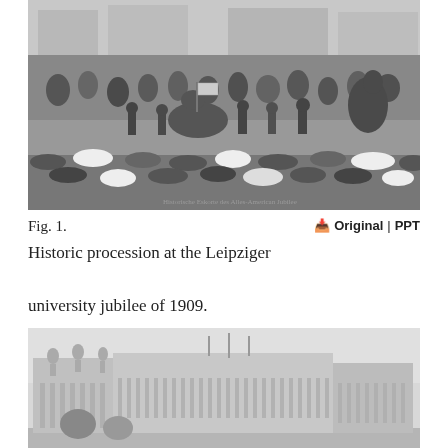[Figure (photo): Black and white historical photograph of a procession at the Leipziger university jubilee of 1909. A crowd of people lines the street, with a camel or horse decorated with a flag visible in the center. Spectators in period dress watch the event.]
Fig. 1.
Historic procession at the Leipziger university jubilee of 1909.
[Figure (photo): Black and white historical photograph of a large neoclassical university or government building, likely in Leipzig, with columns and statues on the roof.]